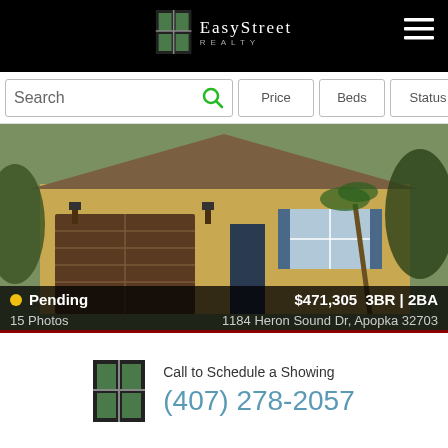[Figure (logo): EasyStreet Realty logo on black header bar with hamburger menu icon]
Search | Price | Beds | Status
[Figure (photo): House exterior photo showing tan stucco home with brown garage door, blue shutters, and palm trees. Overlaid text: Pending, $471,305, 3BR | 2BA, 15 Photos, 1184 Heron Sound Dr, Apopka 32703]
[Figure (photo): House exterior photo showing craftsman style home with dark roof, peaked gables, and trees. Heart/favorite icon visible in upper right.]
Call to Schedule a Showing
(407) 278-2057